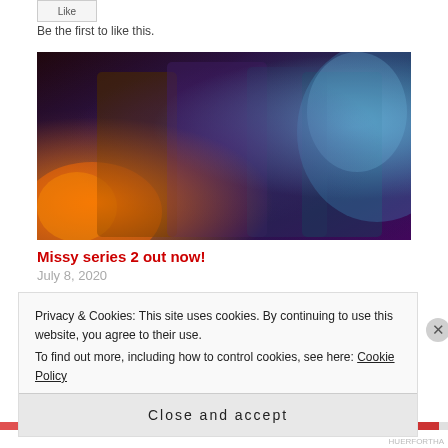Be the first to like this.
[Figure (illustration): Promotional artwork for Missy Series 2 showing several sci-fi characters with vivid cosmic background colors including orange flames and blue/purple nebula tones]
Missy series 2 out now!
July 8, 2020
Privacy & Cookies: This site uses cookies. By continuing to use this website, you agree to their use.
To find out more, including how to control cookies, see here: Cookie Policy
Close and accept